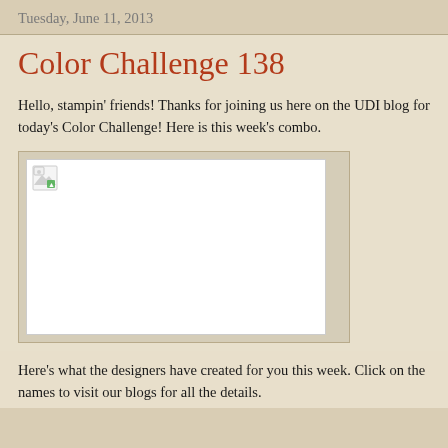Tuesday, June 11, 2013
Color Challenge 138
Hello, stampin' friends!  Thanks for joining us here on the UDI blog for today's Color Challenge! Here is this week's combo.
[Figure (other): Broken image placeholder showing a color combo for the weekly stamping challenge]
Here's what the designers have created for you this week.  Click on the names to visit our blogs for all the details.